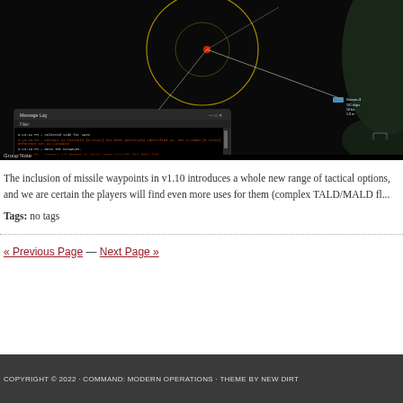[Figure (screenshot): Screenshot of a Command: Modern Operations tactical map showing radar circles, missile/aircraft tracks on a black background, with a Message Log window overlay showing game event messages including contacts identified and losses.]
The inclusion of missile waypoints in v1.10 introduces a whole new range of tactical options, and we are certain the players will find even more uses for them (complex TALD/MALD fl...
Tags: no tags
« Previous Page — Next Page »
COPYRIGHT © 2022 · COMMAND: MODERN OPERATIONS · THEME BY NEW DIRT